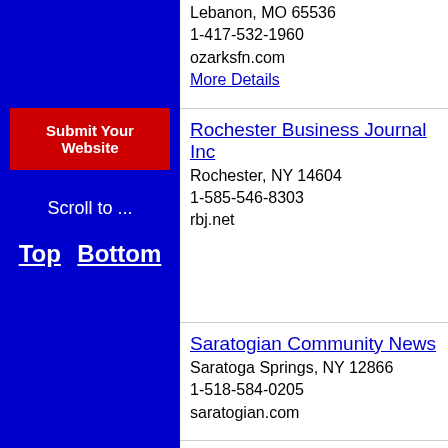Lebanon, MO 65536
1-417-532-1960
ozarksfn.com
More Details
[Figure (other): Submit Your Website button (red button with white bold text)]
Scroll to ...
Top  Bottom
Rochester Business Journal Inc
Rochester, NY 14604
1-585-546-8303
rbj.net
Saratogian Community News
Saratoga Springs, NY 12866
1-518-584-0205
saratogian.com
Seminole Sentinal